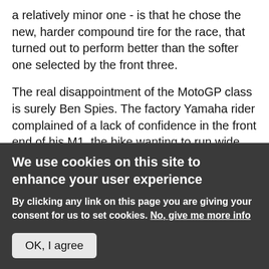a relatively minor one - is that he chose the new, harder compound tire for the race, that turned out to perform better than the softer one selected by the front three.

The real disappointment of the MotoGP class is surely Ben Spies. The factory Yamaha rider complained of a lack of confidence in the front end of his M1, the bike wanting to run wide, especially at the fast sweepers of which Jerez has so many. Spies' set up is radically different to the other Yamaha riders, but adopting their set up has never worked for the Texan so far. But finishing in 11th, 38 seconds behind the winner and 37 behind his teammate on identical equipment is simply
We use cookies on this site to enhance your user experience
By clicking any link on this page you are giving your consent for us to set cookies. No, give me more info
OK, I agree